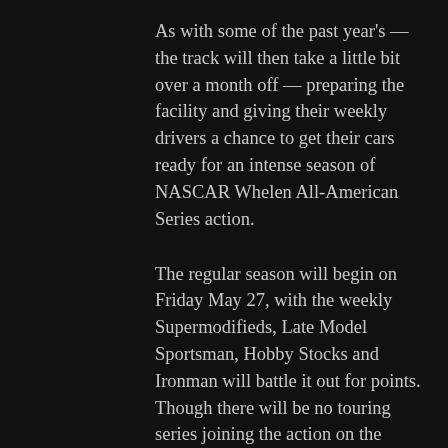As with some of the past year's — the track will then take a little bit over a month off — preparing the facility and giving their weekly drivers a chance to get their cars ready for an intense season of NASCAR Whelen All-American Series action.
The regular season will begin on Friday May 27, with the weekly Supermodifieds, Late Model Sportsman, Hobby Stocks and Ironman will battle it out for points. Though there will be no touring series joining the action on the opening night — that will be rare in 2016.
The Granite State Pro Stock Series (GSPSS) will join Lee's weekly races on Friday June 3 for a 100 lap Pro Stock